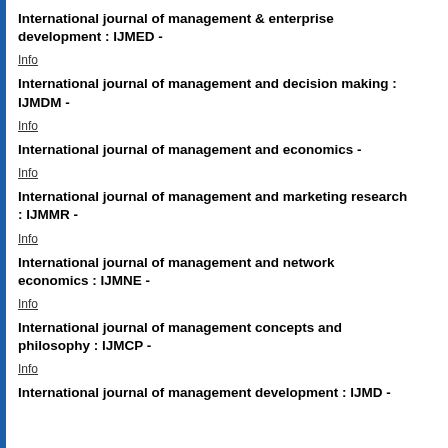International journal of management & enterprise development : IJMED -
Info
International journal of management and decision making : IJMDM -
Info
International journal of management and economics -
Info
International journal of management and marketing research : IJMMR -
Info
International journal of management and network economics : IJMNE -
Info
International journal of management concepts and philosophy : IJMCP -
Info
International journal of management development : IJMD -